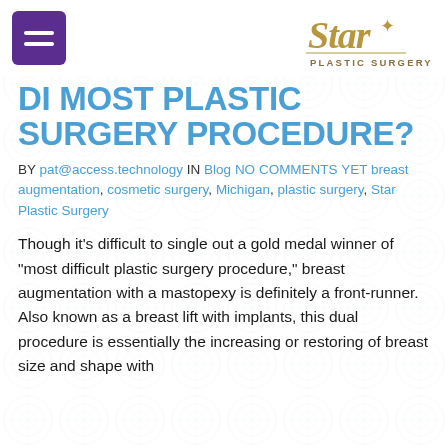[Figure (logo): Star Plastic Surgery logo with stylized cursive 'Star' text above 'PLASTIC SURGERY' in small caps, gold/tan colors]
DI MOST PLASTIC SURGERY PROCEDURE?
BY pat@access.technology IN Blog NO COMMENTS YET breast augmentation, cosmetic surgery, Michigan, plastic surgery, Star Plastic Surgery
Though it’s difficult to single out a gold medal winner of “most difficult plastic surgery procedure,” breast augmentation with a mastopexy is definitely a front-runner. Also known as a breast lift with implants, this dual procedure is essentially the increasing or restoring of breast size and shape with